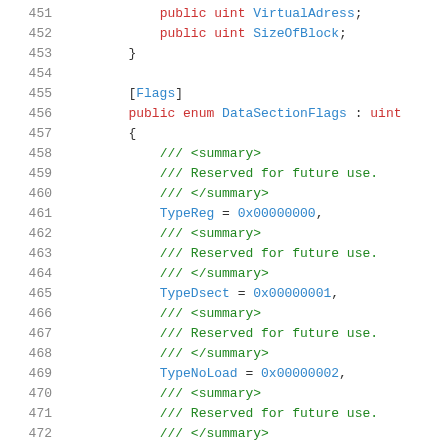[Figure (screenshot): Code editor screenshot showing C# source code lines 451-472, featuring a struct with VirtualAdress and SizeOfBlock fields, and a DataSectionFlags enum definition with TypeReg, TypeDsect, and TypeNoLoad values, along with XML documentation comments.]